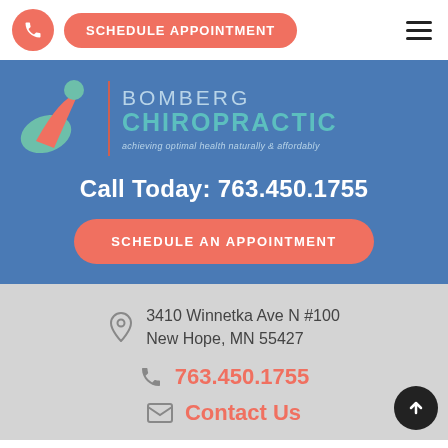[Figure (logo): Phone icon circle button and Schedule Appointment button in salmon/coral color, hamburger menu icon on right]
[Figure (logo): Bomberg Chiropractic logo with stylized figure icon, blue background, teal and white text, tagline: achieving optimal health naturally & affordably]
Call Today: 763.450.1755
SCHEDULE AN APPOINTMENT
3410 Winnetka Ave N #100
New Hope, MN 55427
763.450.1755
Contact Us